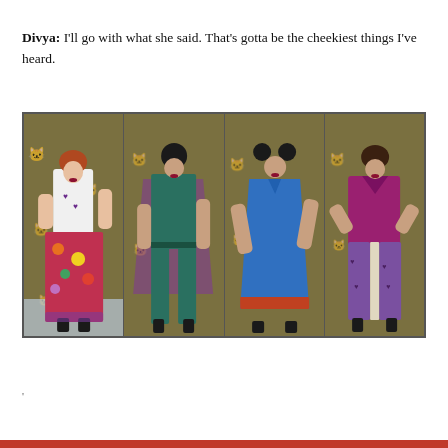Divya: I'll go with what she said. That's gotta be the cheekiest things I've heard.
[Figure (photo): Four fashion models wearing different Indian-inspired outfits against a wallpaper background with purple cat motifs. From left to right: (1) woman in white top with purple hearts and floral skirt, (2) woman in teal/green outfit with purple sheer overlay, (3) woman in blue kurta dress with orange hem detail, (4) woman in purple/magenta top with purple printed pants and cream capris.]
'